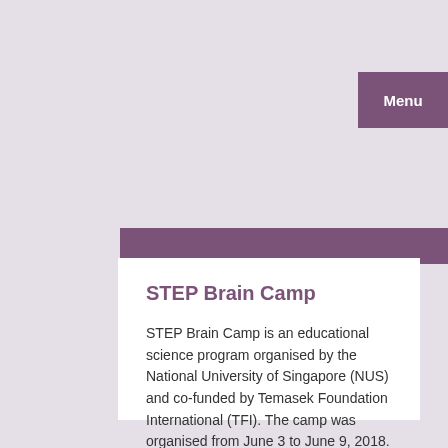Menu
STEP Brain Camp
STEP Brain Camp is an educational science program organised by the National University of Singapore (NUS) and co-funded by Temasek Foundation International (TFI). The camp was organised from June 3 to June 9, 2018.
Written by Okkar Kyaw
Posted on 26 June 2018
Filed under Collaboration, Events, International